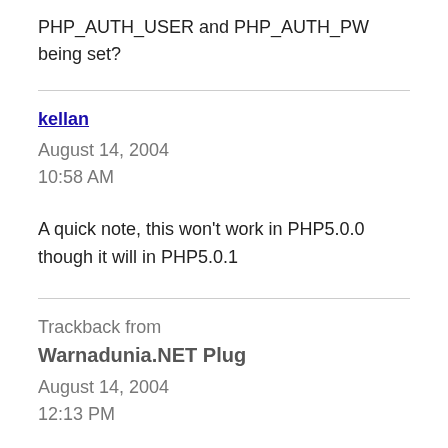PHP_AUTH_USER and PHP_AUTH_PW being set?
kellan
August 14, 2004
10:58 AM
A quick note, this won't work in PHP5.0.0 though it will in PHP5.0.1
Trackback from
Warnadunia.NET Plug
August 14, 2004
12:13 PM